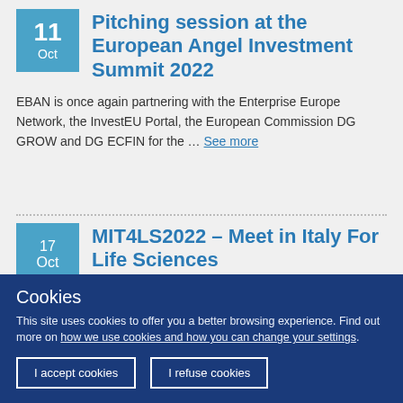Pitching session at the European Angel Investment Summit 2022
EBAN is once again partnering with the Enterprise Europe Network, the InvestEU Portal, the European Commission DG GROW and DG ECFIN for the … See more
MIT4LS2022 – Meet in Italy For Life Sciences
Cookies
This site uses cookies to offer you a better browsing experience. Find out more on how we use cookies and how you can change your settings.
I accept cookies
I refuse cookies